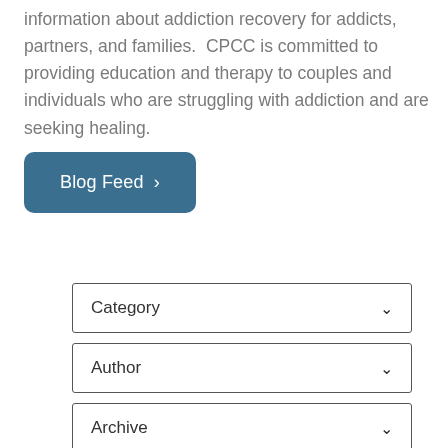information about addiction recovery for addicts, partners, and families. CPCC is committed to providing education and therapy to couples and individuals who are struggling with addiction and are seeking healing.
Blog Feed >
Category
Author
Archive